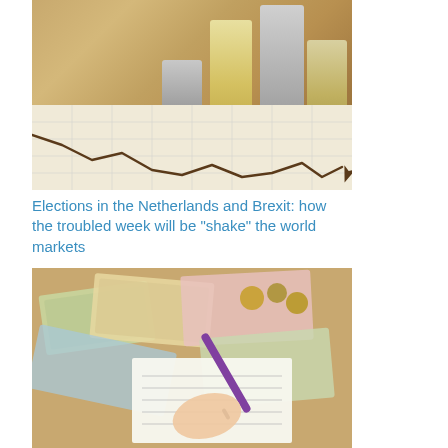[Figure (photo): Stacks of gold and silver coins on top of a financial chart/graph paper with a drawn market line showing an upward trend]
Elections in the Netherlands and Brexit: how the troubled week will be “shake” the world markets
[Figure (photo): A hand holding a purple pen writing on a form/document surrounded by scattered banknotes and coins on a wooden table]